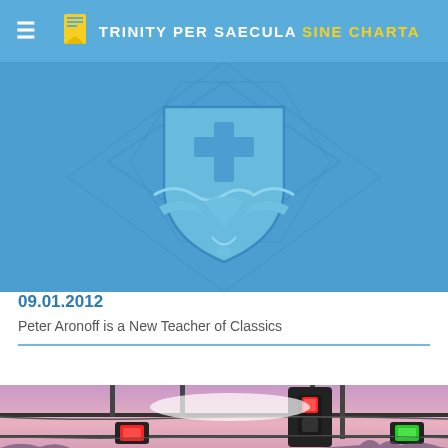TRINITY PER SAECULA SINE CHARTA
[Figure (illustration): Blue banner image with a decorative heraldic crest/shield emblem in light blue, featuring a cross and ornamental scrollwork, on a blue geometric background.]
09.01.2012
Peter Aronoff is a New Teacher of Classics
[Figure (photo): Cityscape photo at dusk/twilight showing traffic lights on horizontal bar arms above a road, with a pink-purple sky and blurred background of city buildings.]